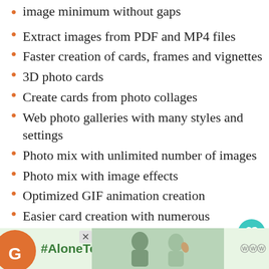image minimum without gaps
Extract images from PDF and MP4 files
Faster creation of cards, frames and vignettes
3D photo cards
Create cards from photo collages
Web photo galleries with many styles and settings
Photo mix with unlimited number of images
Photo mix with image effects
Optimized GIF animation creation
Easier card creation with numerous templates
Send as email, Use browser-based email
[Figure (infographic): #AloneTogether ad banner with photo of couple and logo]